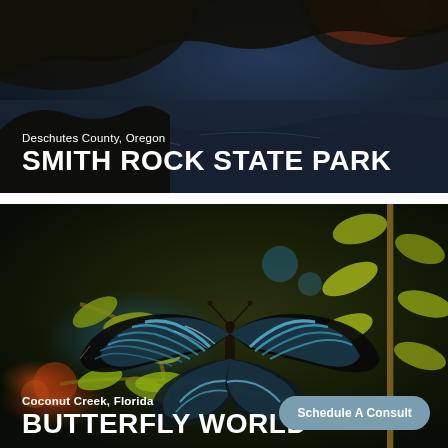[Figure (photo): Dark scenic photo with water reflection and trees, Smith Rock State Park, Deschutes County Oregon]
Deschutes County, Oregon
SMITH ROCK STATE PARK
[Figure (photo): Dark nature photo with a blue and black butterfly resting on green leaves with bokeh background, Butterfly World, Coconut Creek Florida]
Coconut Creek, Florida
BUTTERFLY WORLD
Schedule A Consult